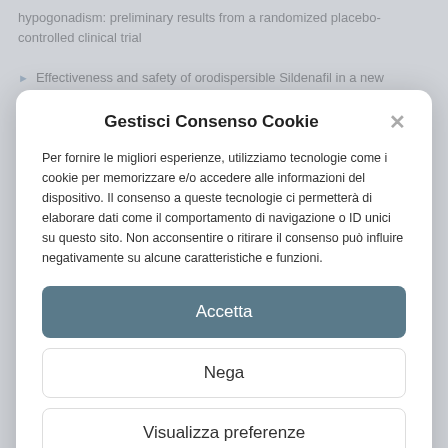hypogonadism: preliminary results from a randomized placebo-controlled clinical trial
Effectiveness and safety of orodispersible Sildenafil in a new
Gestisci Consenso Cookie
Per fornire le migliori esperienze, utilizziamo tecnologie come i cookie per memorizzare e/o accedere alle informazioni del dispositivo. Il consenso a queste tecnologie ci permetterà di elaborare dati come il comportamento di navigazione o ID unici su questo sito. Non acconsentire o ritirare il consenso può influire negativamente su alcune caratteristiche e funzioni.
Accetta
Nega
Visualizza preferenze
Cookie Policy   Dichiarazione sulla Privacy